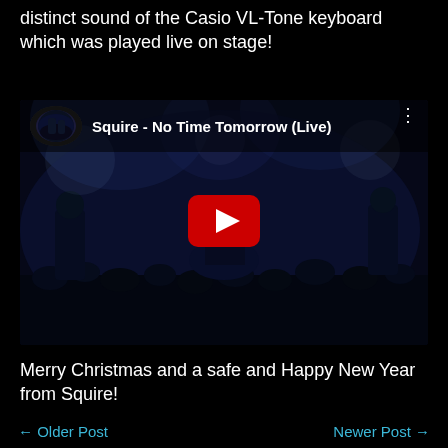distinct sound of the Casio VL-Tone keyboard which was played live on stage!
[Figure (screenshot): YouTube video embed showing 'Squire - No Time Tomorrow (Live)' with a concert scene, dark blue lighting, band on stage, audience in foreground, and a red YouTube play button in the center.]
Merry Christmas and a safe and Happy New Year from Squire!
← Older Post    Newer Post →